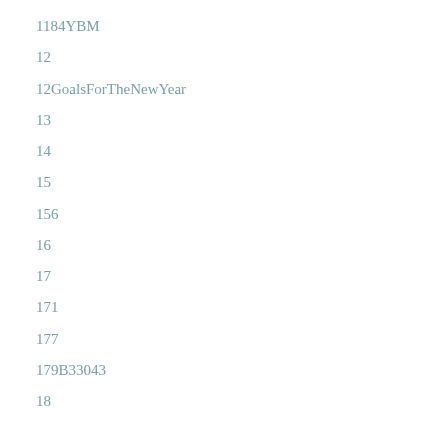1184YBM
12
12GoalsForTheNewYear
13
14
15
156
16
17
171
177
179B33043
18